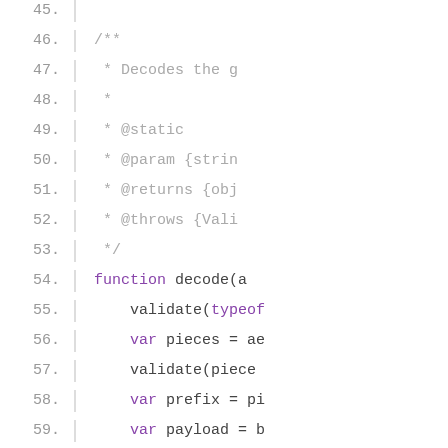Lines 45-62 of JavaScript source code showing a JSDoc comment block and function decode() with variable declarations